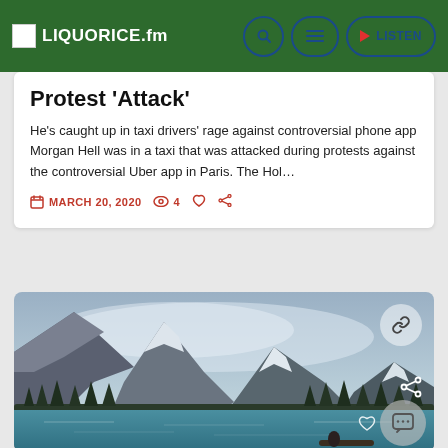LIQUORICE.fm
Protest 'Attack'
He's caught up in taxi drivers' rage against controversial phone app Morgan Hell was in a taxi that was attacked during protests against the controversial Uber app in Paris. The Hol…
MARCH 20, 2020   4
[Figure (photo): Mountain lake landscape with snow-capped peaks, misty clouds, conifer forest, and a figure sitting on a log by a turquoise lake]